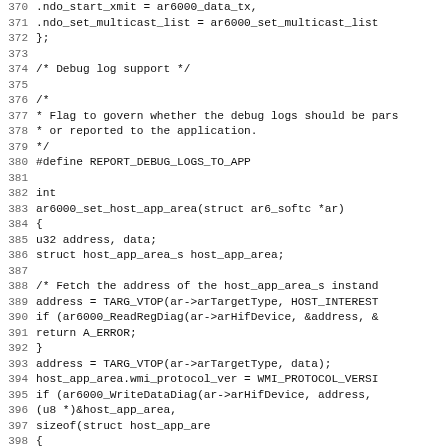Source code listing, lines 370-402, C programming language
370:     .ndo_start_xmit          = ar6000_data_tx,
371:     .ndo_set_multicast_list = ar6000_set_multicast_list
372: };
373:
374: /* Debug log support */
375:
376: /*
377:  * Flag to govern whether the debug logs should be pars
378:  * or reported to the application.
379:  */
380: #define REPORT_DEBUG_LOGS_TO_APP
381:
382: int
383: ar6000_set_host_app_area(struct ar6_softc *ar)
384: {
385:     u32 address, data;
386:     struct host_app_area_s host_app_area;
387:
388:     /* Fetch the address of the host_app_area_s instand
389:     address = TARG_VTOP(ar->arTargetType, HOST_INTEREST
390:     if (ar6000_ReadRegDiag(ar->arHifDevice, &address, &
391:             return A_ERROR;
392:     }
393:     address = TARG_VTOP(ar->arTargetType, data);
394:     host_app_area.wmi_protocol_ver = WMI_PROTOCOL_VERSI
395:     if (ar6000_WriteDataDiag(ar->arHifDevice, address,
396:                             (u8 *)&host_app_area,
397:                             sizeof(struct host_app_are
398:     {
399:         return A_ERROR;
400:     }
401:
402:     return 0;